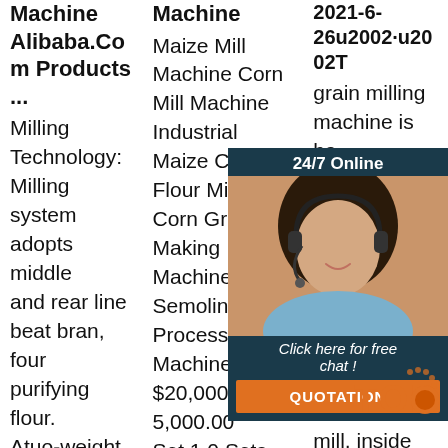Machine Alibaba.Com Products ...
Machine
2021-6-26u2002·u2002T
Milling Technology: Milling system adopts middle and rear line beat bran, four purifying flour. Atuo-weight and packing machine It can be used for p acking wheat/maize/corn bran, grits, etc. pls let us know
Maize Mill Machine Corn Mill Machine Industrial Maize Corn Flour Mill Plant Corn Grits Making Machine Semolina Processing Machine $20,000.00-$25,000.00 Set 1.0 Sets (Min. Order)
grain milling machine is ba di de th ro m ar pl chamber of the mill, inside grain seeds can be grinded into powder.
[Figure (photo): Customer service representative with headset, chat widget overlay with '24/7 Online', 'Click here for free chat!', and QUOTATION button]
[Figure (logo): Orange dotted TOP badge/watermark in bottom right corner]